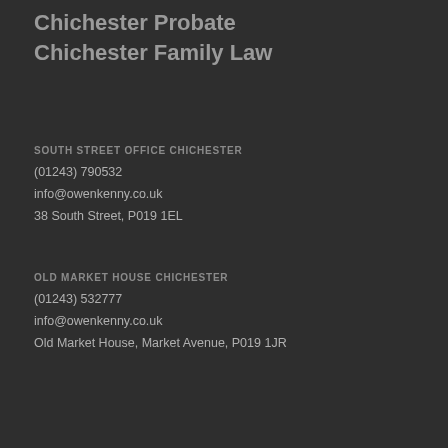Chichester Probate
Chichester Family Law
SOUTH STREET OFFICE CHICHESTER
(01243) 790532
info@owenkenny.co.uk
38 South Street, P019 1EL
OLD MARKET HOUSE CHICHESTER
(01243) 532777
info@owenkenny.co.uk
Old Market House, Market Avenue, P019 1JR